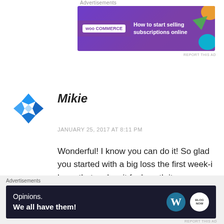Advertisements
[Figure (screenshot): WooCommerce advertisement banner: purple background with WooCommerce logo on left and text 'How to start selling subscriptions online' on right with colorful geometric shapes]
REPORT THIS AD
[Figure (illustration): Blue diamond/rhombus shaped avatar icon made of angular blue shapes]
Mikie
JANUARY 25, 2017 AT 8:11 PM
Wonderful! I know you can do it! So glad you started with a big loss the first week-i hope that makes it feel worth it. Two of my co-workers and I just started on Weight Watchers this week. For me it’s back on WW for the nth time, but I know it’s a program
Advertisements
[Figure (screenshot): Dark navy advertisement banner with text 'Opinions. We all have them!' and WordPress logo and brand logo on right]